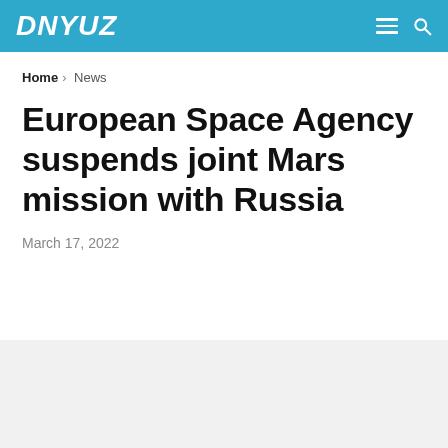DNYUZ
Home > News
European Space Agency suspends joint Mars mission with Russia
March 17, 2022